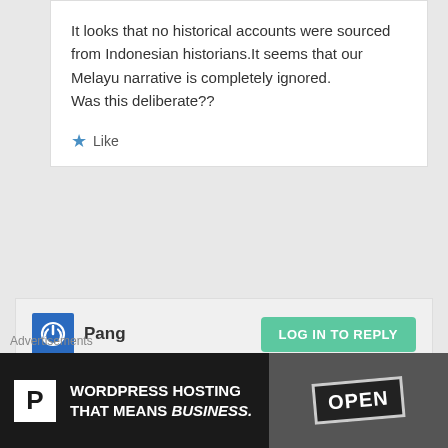It looks that no historical accounts were sourced from Indonesian historians.It seems that our Melayu narrative is completely ignored.
Was this deliberate??
Like
Pang
LOG IN TO REPLY
May 24, 2017 at 14:49
All spices came from India and nowhere else that why got the Durban curry and wholesalers that
Advertisements
[Figure (illustration): WordPress hosting advertisement banner: dark background with P logo on left, text 'WORDPRESS HOSTING THAT MEANS BUSINESS.' and an OPEN sign photo on the right]